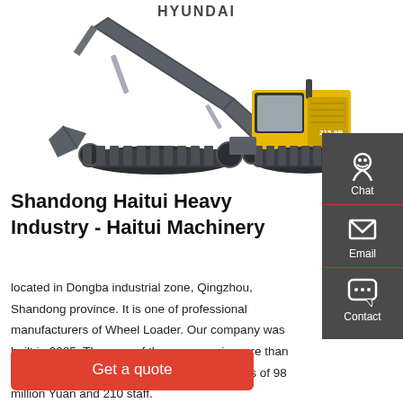[Figure (photo): Hyundai tracked excavator (model 215-9R) with yellow and dark grey body, extended arm and bucket, on white background]
Shandong Haitui Heavy Industry - Haitui Machinery
located in Dongba industrial zone, Qingzhou, Shandong province. It is one of professional manufacturers of Wheel Loader. Our company was built in 2005 .The area of the company is more than 30000 square meter, We possess total assets of 98 million Yuan and 210 staff.